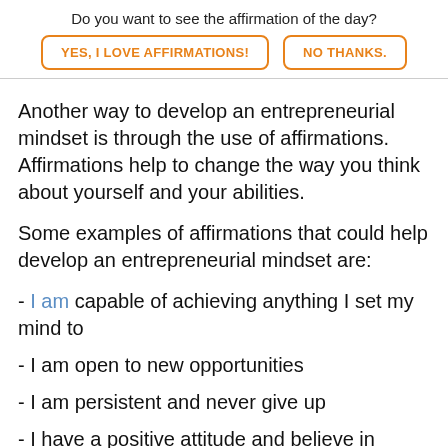Do you want to see the affirmation of the day? YES, I LOVE AFFIRMATIONS! NO THANKS.
Another way to develop an entrepreneurial mindset is through the use of affirmations. Affirmations help to change the way you think about yourself and your abilities.
Some examples of affirmations that could help develop an entrepreneurial mindset are:
- I am capable of achieving anything I set my mind to
- I am open to new opportunities
- I am persistent and never give up
- I have a positive attitude and believe in